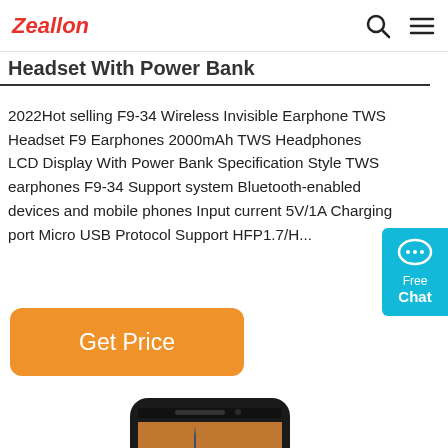Zeallon (logo) with search and menu icons
Headset With Power Bank
2022Hot selling F9-34 Wireless Invisible Earphone TWS Headset F9 Earphones 2000mAh TWS Headphones LCD Display With Power Bank Specification Style TWS earphones F9-34 Support system Bluetooth-enabled devices and mobile phones Input current 5V/1A Charging port Micro USB Protocol Support HFP1.7/H...
[Figure (other): Get Price button (orange rounded rectangle)]
[Figure (other): Free Chat live support widget (cyan/teal)]
[Figure (photo): Smartphone product photo showing Empire State Building cityscape on screen]